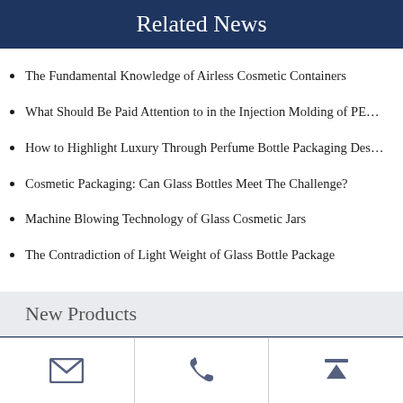Related News
The Fundamental Knowledge of Airless Cosmetic Containers
What Should Be Paid Attention to in the Injection Molding of PE…
How to Highlight Luxury Through Perfume Bottle Packaging Des…
Cosmetic Packaging: Can Glass Bottles Meet The Challenge?
Machine Blowing Technology of Glass Cosmetic Jars
The Contradiction of Light Weight of Glass Bottle Package
New Products
Email | Phone | Top